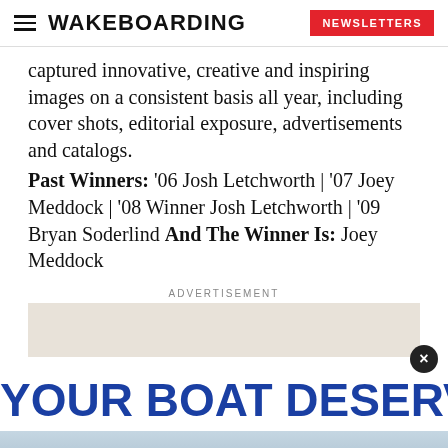WAKEBOARDING | NEWSLETTERS
captured innovative, creative and inspiring images on a consistent basis all year, including cover shots, editorial exposure, advertisements and catalogs. Past Winners: ’06 Josh Letchworth | ’07 Joey Meddock | ’08 Winner Josh Letchworth | ’09 Bryan Soderlind And The Winner Is: Joey Meddock
ADVERTISEMENT
[Figure (other): Advertisement placeholder banner with beige/tan background]
YOUR BOAT DESERVES
[Figure (photo): Bottom partial image strip, appears to show water/boat scene]